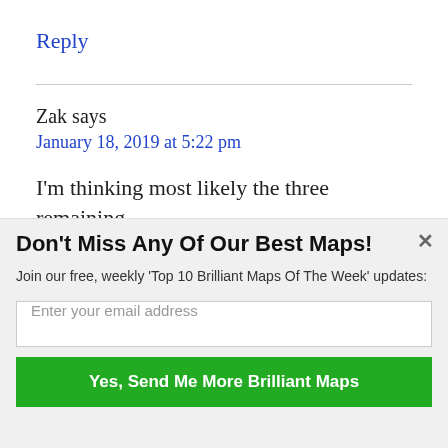Reply
Zak says
January 18, 2019 at 5:22 pm
I'm thinking most likely the three remaining
Don't Miss Any Of Our Best Maps!
Join our free, weekly 'Top 10 Brilliant Maps Of The Week' updates:
Enter your email address
Yes, Send Me More Brilliant Maps